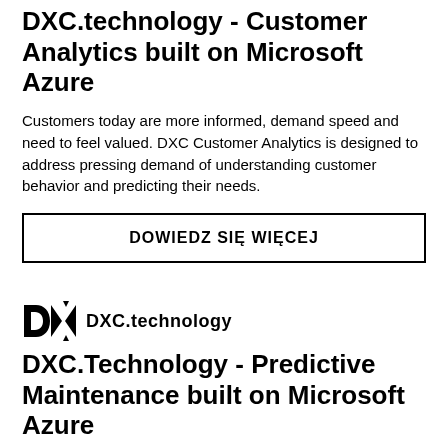DXC.technology - Customer Analytics built on Microsoft Azure
Customers today are more informed, demand speed and need to feel valued. DXC Customer Analytics is designed to address pressing demand of understanding customer behavior and predicting their needs.
DOWIEDZ SIĘ WIĘCEJ
[Figure (logo): DXC.technology logo with triangular geometric mark and text 'DXC.technology']
DXC.Technology - Predictive Maintenance built on Microsoft Azure
Predictive maintenance is increasingly seen as a strategic business function, keeping operations running with